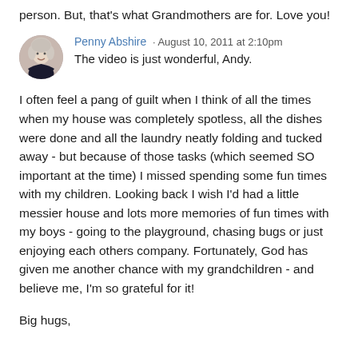person. But, that's what Grandmothers are for. Love you!
Penny Abshire · August 10, 2011 at 2:10pm
The video is just wonderful, Andy.
I often feel a pang of guilt when I think of all the times when my house was completely spotless, all the dishes were done and all the laundry neatly folding and tucked away - but because of those tasks (which seemed SO important at the time) I missed spending some fun times with my children. Looking back I wish I'd had a little messier house and lots more memories of fun times with my boys - going to the playground, chasing bugs or just enjoying each others company. Fortunately, God has given me another chance with my grandchildren - and believe me, I'm so grateful for it!
Big hugs,